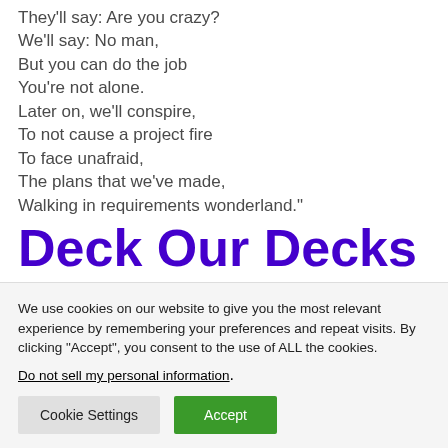They'll say: Are you crazy?
We'll say: No man,
But you can do the job
You're not alone.
Later on, we'll conspire,
To not cause a project fire
To face unafraid,
The plans that we've made,
Walking in requirements wonderland."
Deck Our Decks
We use cookies on our website to give you the most relevant experience by remembering your preferences and repeat visits. By clicking “Accept”, you consent to the use of ALL the cookies.
Do not sell my personal information.